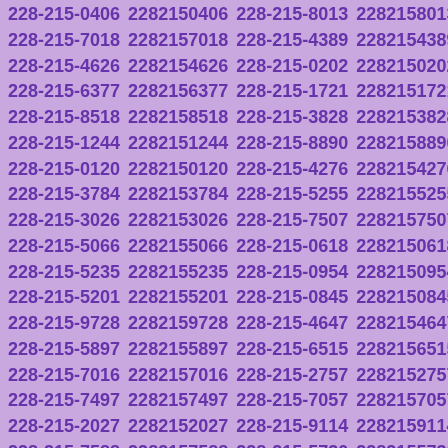| 228-215-0406 | 2282150406 | 228-215-8013 | 2282158013 |
| 228-215-7018 | 2282157018 | 228-215-4389 | 2282154389 |
| 228-215-4626 | 2282154626 | 228-215-0202 | 2282150202 |
| 228-215-6377 | 2282156377 | 228-215-1721 | 2282151721 |
| 228-215-8518 | 2282158518 | 228-215-3828 | 2282153828 |
| 228-215-1244 | 2282151244 | 228-215-8890 | 2282158890 |
| 228-215-0120 | 2282150120 | 228-215-4276 | 2282154276 |
| 228-215-3784 | 2282153784 | 228-215-5255 | 2282155255 |
| 228-215-3026 | 2282153026 | 228-215-7507 | 2282157507 |
| 228-215-5066 | 2282155066 | 228-215-0618 | 2282150618 |
| 228-215-5235 | 2282155235 | 228-215-0954 | 2282150954 |
| 228-215-5201 | 2282155201 | 228-215-0845 | 2282150845 |
| 228-215-9728 | 2282159728 | 228-215-4647 | 2282154647 |
| 228-215-5897 | 2282155897 | 228-215-6515 | 2282156515 |
| 228-215-7016 | 2282157016 | 228-215-2757 | 2282152757 |
| 228-215-7497 | 2282157497 | 228-215-7057 | 2282157057 |
| 228-215-2027 | 2282152027 | 228-215-9114 | 2282159114 |
| 228-215-7588 | 2282157588 | 228-215-5730 | 2282155730 |
| 228-215-1249 | 2282151249 | 228-215-9764 | 2282159764 |
| 228-215-4895 | 2282154895 | 228-215-8611 | 2282158611 |
| 228-215-3591 | 2282153591 | 228-215-6713 | 2282156713 |